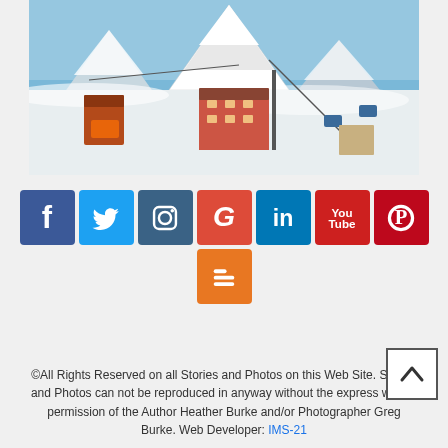[Figure (photo): Winter alpine scene with snow-covered Matterhorn peak in the background, a red ski gondola building on the left, a multi-story chalet hotel in the center, cable car cables, and ski lift equipment visible. Blue sky above.]
[Figure (infographic): Row of social media icon buttons: Facebook (blue, f), Twitter (light blue, bird), Instagram (dark blue, camera), Google+ (red-orange, G), LinkedIn (blue, in), YouTube (red, You Tube), Pinterest (dark red, P circle). Second row: Blogger (orange, B).]
©All Rights Reserved on all Stories and Photos on this Web Site. Stories and Photos can not be reproduced in anyway without the express written permission of the Author Heather Burke and/or Photographer Greg Burke. Web Developer: IMS-21